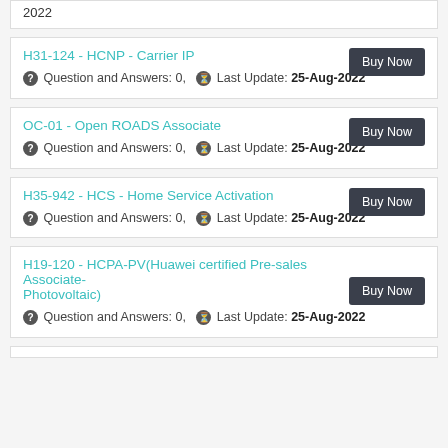2022
H31-124 - HCNP - Carrier IP
Question and Answers: 0, Last Update: 25-Aug-2022
OC-01 - Open ROADS Associate
Question and Answers: 0, Last Update: 25-Aug-2022
H35-942 - HCS - Home Service Activation
Question and Answers: 0, Last Update: 25-Aug-2022
H19-120 - HCPA-PV(Huawei certified Pre-sales Associate-Photovoltaic)
Question and Answers: 0, Last Update: 25-Aug-2022